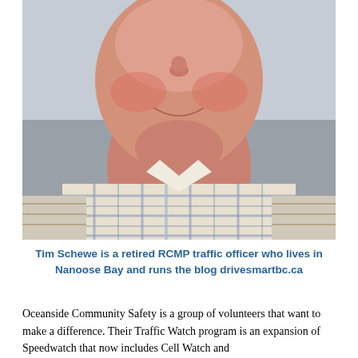[Figure (photo): Close-up portrait photo of a middle-aged man smiling, wearing a plaid shirt in shades of blue, white, and tan/khaki. Light grey background.]
Tim Schewe is a retired RCMP traffic officer who lives in Nanoose Bay and runs the blog drivesmartbc.ca
Oceanside Community Safety is a group of volunteers that want to make a difference. Their Traffic Watch program is an expansion of Speedwatch that now includes Cell Watch and